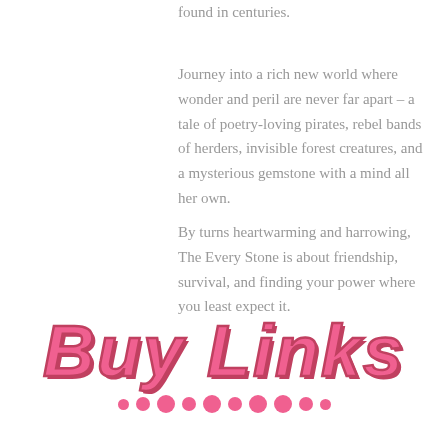found in centuries.
Journey into a rich new world where wonder and peril are never far apart – a tale of poetry-loving pirates, rebel bands of herders, invisible forest creatures, and a mysterious gemstone with a mind all her own.
By turns heartwarming and harrowing, The Every Stone is about friendship, survival, and finding your power where you least expect it.
Buy Links